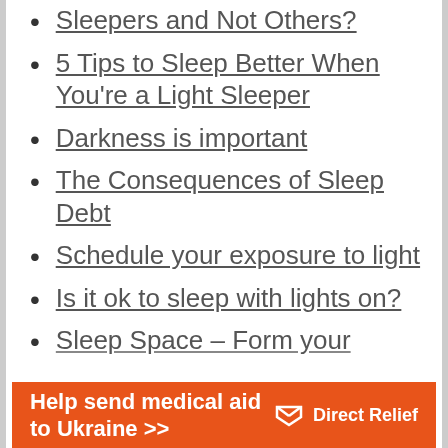Sleepers and Not Others?
5 Tips to Sleep Better When You're a Light Sleeper
Darkness is important
The Consequences of Sleep Debt
Schedule your exposure to light
Is it ok to sleep with lights on?
Sleep Space – Form your
[Figure (infographic): Orange advertisement banner for Direct Relief reading 'Help send medical aid to Ukraine >>' with Direct Relief logo on the right side]